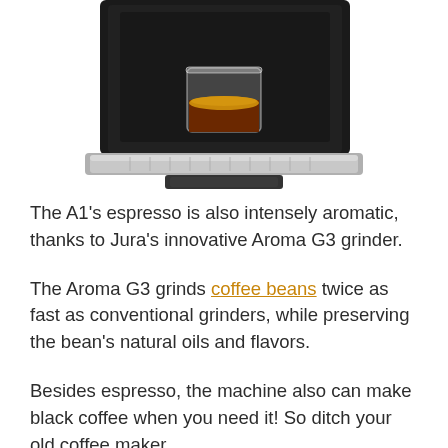[Figure (photo): Bottom portion of a Jura A1 espresso machine in dark/black color with silver drip tray, with a glass of espresso placed on the tray]
The A1's espresso is also intensely aromatic, thanks to Jura's innovative Aroma G3 grinder.
The Aroma G3 grinds coffee beans twice as fast as conventional grinders, while preserving the bean's natural oils and flavors.
Besides espresso, the machine also can make black coffee when you need it! So ditch your old coffee maker.